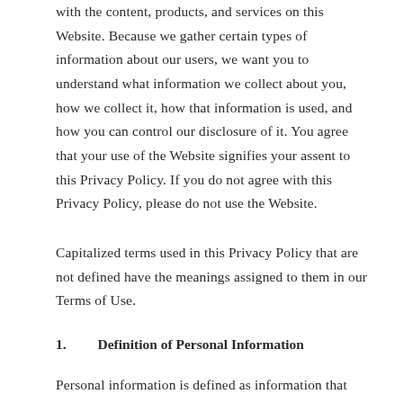with the content, products, and services on this Website. Because we gather certain types of information about our users, we want you to understand what information we collect about you, how we collect it, how that information is used, and how you can control our disclosure of it. You agree that your use of the Website signifies your assent to this Privacy Policy. If you do not agree with this Privacy Policy, please do not use the Website.
Capitalized terms used in this Privacy Policy that are not defined have the meanings assigned to them in our Terms of Use.
1.         Definition of Personal Information
Personal information is defined as information that...